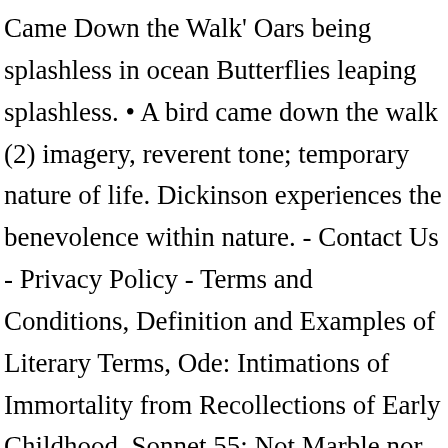Came Down the Walk' Oars being splashless in ocean Butterflies leaping splashless. • A bird came down the walk (2) imagery, reverent tone; temporary nature of life. Dickinson experiences the benevolence within nature. - Contact Us - Privacy Policy - Terms and Conditions, Definition and Examples of Literary Terms, Ode: Intimations of Immortality from Recollections of Early Childhood, Sonnet 55: Not Marble nor the Gilded Monuments, In Memoriam A. H. H. OBIIT MDCCCXXXIII: 27, Speech: “Is this a dagger